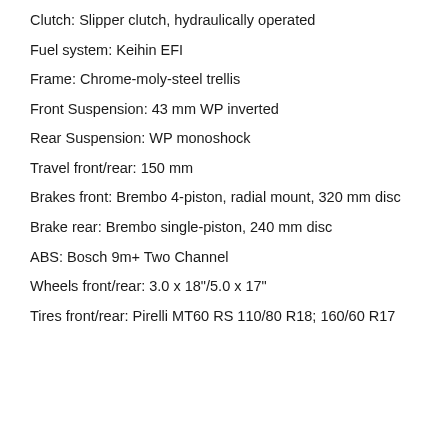Clutch: Slipper clutch, hydraulically operated
Fuel system: Keihin EFI
Frame: Chrome-moly-steel trellis
Front Suspension: 43 mm WP inverted
Rear Suspension: WP monoshock
Travel front/rear: 150 mm
Brakes front: Brembo 4-piston, radial mount, 320 mm disc
Brake rear: Brembo single-piston, 240 mm disc
ABS: Bosch 9m+ Two Channel
Wheels front/rear: 3.0 x 18"/5.0 x 17"
Tires front/rear: Pirelli MT60 RS 110/80 R18; 160/60 R17